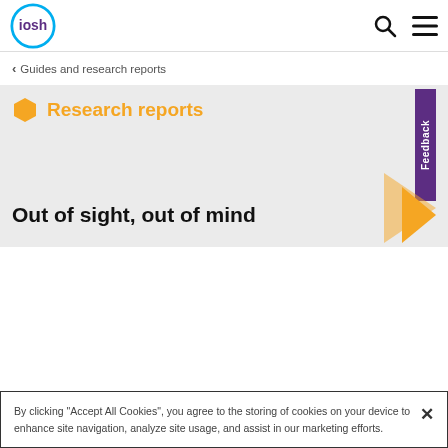iosh
Guides and research reports
Research reports
Out of sight, out of mind
By clicking "Accept All Cookies", you agree to the storing of cookies on your device to enhance site navigation, analyze site usage, and assist in our marketing efforts.